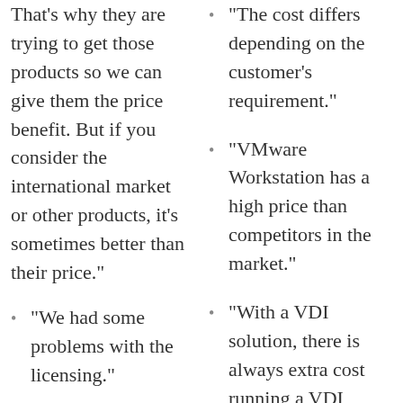from management. That's why they are trying to get those products so we can give them the price benefit. But if you consider the international market or other products, it's sometimes better than their price."
"We had some problems with the licensing."
"KVM is priced
"The cost differs depending on the customer's requirement."
"VMware Workstation has a high price than competitors in the market."
"With a VDI solution, there is always extra cost running a VDI solution but it's not for cost